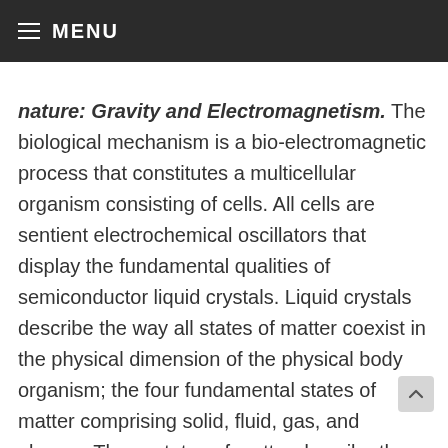MENU
nature: Gravity and Electromagnetism. The biological mechanism is a bio-electromagnetic process that constitutes a multicellular organism consisting of cells. All cells are sentient electrochemical oscillators that display the fundamental qualities of semiconductor liquid crystals. Liquid crystals describe the way all states of matter coexist in the physical dimension of the physical body organism; the four fundamental states of matter comprising solid, fluid, gas, and plasma. These states of matter describe the physical state in which change happens